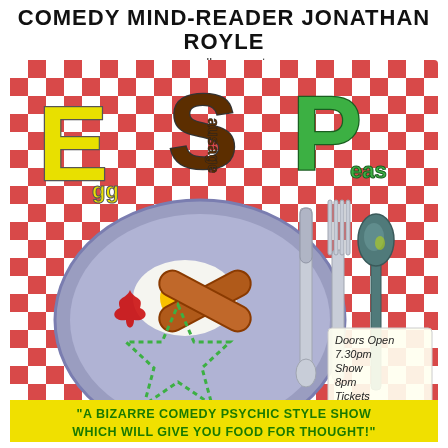COMEDY MIND-READER JONATHAN ROYLE
proudly presents
[Figure (illustration): ESP show poster featuring a red and white checkered tablecloth background. Large stylized letters E (yellow), S (brown/dark), P (green) with subscript words 'GG' under E (making EGG), 'AUSAGE' under S (making SAUSAGE), 'EAS' under P (making PEAS). Center shows a lavender plate with a fried egg, two sausages, a red ketchup splash, and a green dotted star/pentagram shape. To the right are metallic knife, fork, and spoon. In the lower right corner is a hand-written style note: 'Doors Open 7.30pm Show 8pm Tickets £12 & £10'. At the bottom: a yellow and green text banner reading 'A BIZARRE COMEDY PSYCHIC STYLE SHOW WHICH WILL GIVE YOU FOOD FOR THOUGHT!']